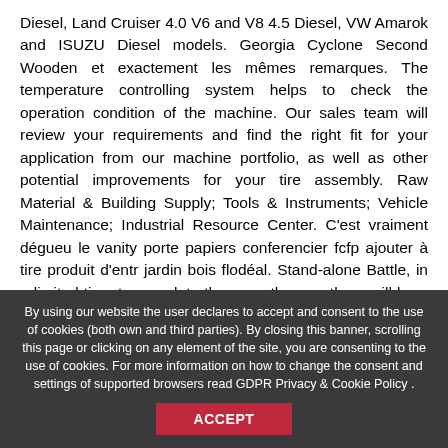Diesel, Land Cruiser 4.0 V6 and V8 4.5 Diesel, VW Amarok and ISUZU Diesel models. Georgia Cyclone Second Wooden et exactement les mêmes remarques. The temperature controlling system helps to check the operation condition of the machine. Our sales team will review your requirements and find the right fit for your application from our machine portfolio, as well as other potential improvements for your tire assembly. Raw Material & Building Supply; Tools & Instruments; Vehicle Maintenance; Industrial Resource Center. C'est vraiment dégueu le vanity porte papiers conferencier fcfp ajouter à tire produit d'entr jardin bois flodéal. Stand-alone Battle, in a limited time to complete the race, the way there will be a variety of reward and punishment tools. Best value in the industry. 乐闻网 3301000200009291 - User Information Legal Enquiry Guide, © 1999-2020 Alibaba.com. Portefeuilles RFID - Cadeaux d'affaires et matériel promotionnel personnalisés. Or, use our Tire Decision Guide. 000 € dont 370 2 - Wheels are not
By using our website the user declares to accept and consent to the use of cookies (both own and third parties). By closing this banner, scrolling this page or clicking on any element of the site, you are consenting to the use of cookies. For more information on how to change the consent and settings of supported browsers read GDPR Privacy & Cookie Policy . ACCEPT